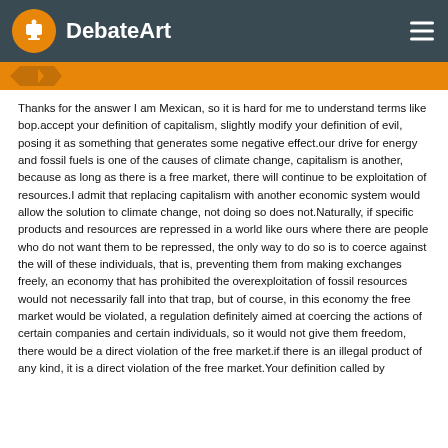DebateArt
Thanks for the answer I am Mexican, so it is hard for me to understand terms like bop.accept your definition of capitalism, slightly modify your definition of evil, posing it as something that generates some negative effect.our drive for energy and fossil fuels is one of the causes of climate change, capitalism is another, because as long as there is a free market, there will continue to be exploitation of resources.I admit that replacing capitalism with another economic system would allow the solution to climate change, not doing so does not.Naturally, if specific products and resources are repressed in a world like ours where there are people who do not want them to be repressed, the only way to do so is to coerce against the will of these individuals, that is, preventing them from making exchanges freely, an economy that has prohibited the overexploitation of fossil resources would not necessarily fall into that trap, but of course, in this economy the free market would be violated, a regulation definitely aimed at coercing the actions of certain companies and certain individuals, so it would not give them freedom, there would be a direct violation of the free market.if there is an illegal product of any kind, it is a direct violation of the free market.Your definition called by